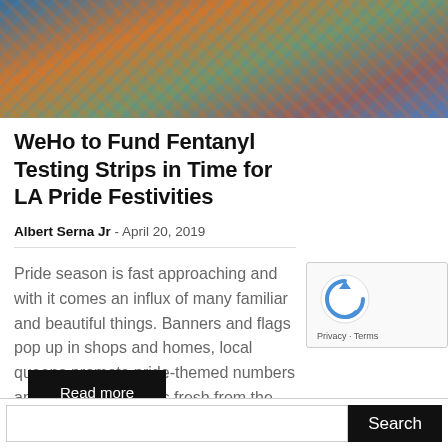[Figure (photo): Crowd of people at LA Pride parade, colorful flags and festive attire visible]
WeHo to Fund Fentanyl Testing Strips in Time for LA Pride Festivities
Albert Serna Jr · April 20, 2019
Pride season is fast approaching and with it comes an influx of many familiar and beautiful things. Banners and flags pop up in shops and homes, local queens promote pride-themed numbers and outfits, baby gays fresh from the closet...
Read more
Search